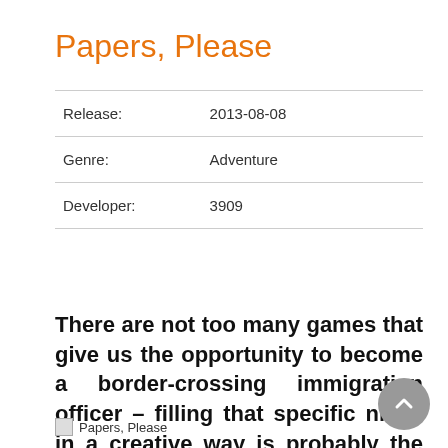Papers, Please
| Release: | 2013-08-08 |
| Genre: | Adventure |
| Developer: | 3909 |
There are not too many games that give us the opportunity to become a border-crossing immigration officer – filling that specific niche in a creative way is probably the reason behind the game's popularity.
[Figure (photo): Papers, Please image placeholder (broken image icon with alt text 'Papers, Please')]